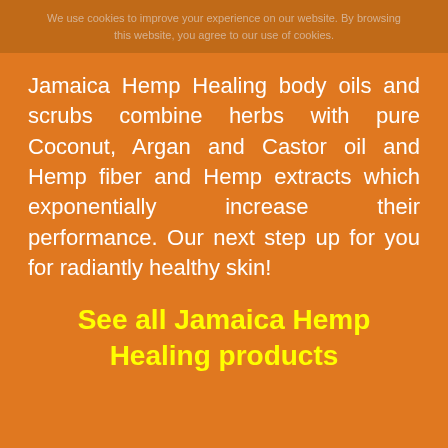We use cookies to improve your experience on our website. By browsing this website, you agree to our use of cookies.
Jamaica Hemp Healing body oils and scrubs combine herbs with pure Coconut, Argan and Castor oil and Hemp fiber and Hemp extracts which exponentially increase their performance. Our next step up for you for radiantly healthy skin!
See all Jamaica Hemp Healing products